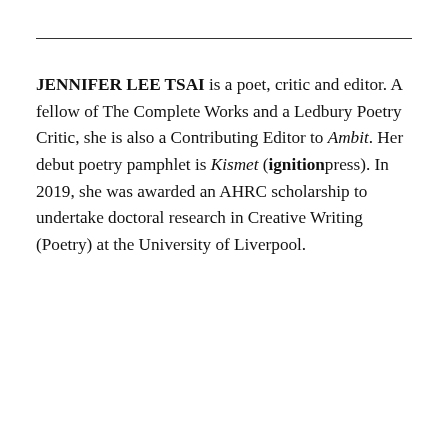JENNIFER LEE TSAI is a poet, critic and editor. A fellow of The Complete Works and a Ledbury Poetry Critic, she is also a Contributing Editor to Ambit. Her debut poetry pamphlet is Kismet (ignitionpress). In 2019, she was awarded an AHRC scholarship to undertake doctoral research in Creative Writing (Poetry) at the University of Liverpool.